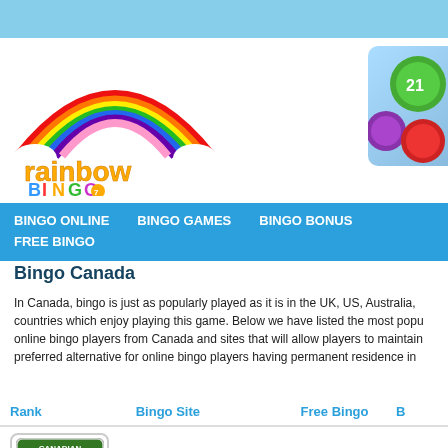[Figure (logo): Rainbow Bingo logo with colorful rainbow arc, stars, and colorful bubble letters spelling 'rainbow bingo']
[Figure (photo): Bingo balls cluster showing green ball with number 21, purple ball, and red ball]
BINGO ONLINE   BINGO GAMES   BINGO BONUS   FREE BINGO
Bingo Canada
In Canada, bingo is just as popularly played as it is in the UK, US, Australia, countries which enjoy playing this game. Below we have listed the most popu online bingo players from Canada and sites that will allow players to maintain preferred alternative for online bingo players having permanent residence in
| Rank | Bingo Site | Free Bingo | B |
| --- | --- | --- | --- |
| [Canadian Dollar Bingo logo] | Play at Canadian Dollar | $20 |  |